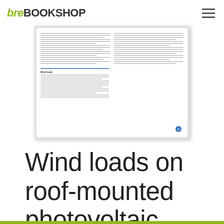breBOOKSHOP
[Figure (screenshot): Thumbnail of a BRE document page showing text content about wind loads on roof-mounted photovoltaic and solar thermal systems, with two-column layout and an IHS logo circle in the bottom right corner.]
Wind loads on roof-mounted photovoltaic and solar thermal systems